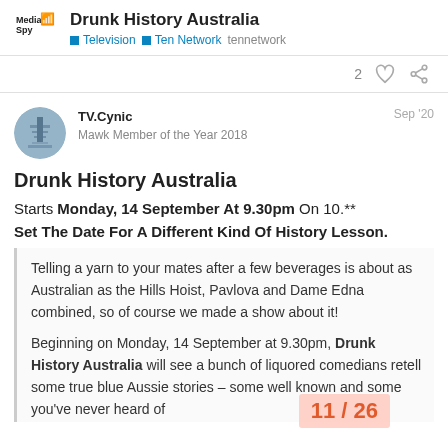Drunk History Australia | Television | Ten Network | tennetwork
2 [likes] [link]
TV.Cynic
Mawk Member of the Year 2018
Sep '20
Drunk History Australia
Starts Monday, 14 September At 9.30pm On 10.**
Set The Date For A Different Kind Of History Lesson.
Telling a yarn to your mates after a few beverages is about as Australian as the Hills Hoist, Pavlova and Dame Edna combined, so of course we made a show about it!
Beginning on Monday, 14 September at 9.30pm, Drunk History Australia will see a bunch of liquored comedians retell some true blue Aussie stories – some well known and some you've never heard of
11 / 26